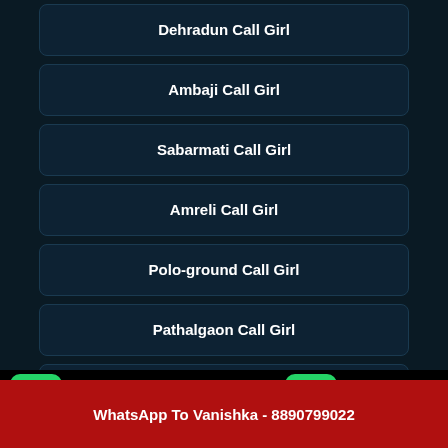Dehradun Call Girl
Ambaji Call Girl
Sabarmati Call Girl
Amreli Call Girl
Polo-ground Call Girl
Pathalgaon Call Girl
Thaltej Call Girl
Whatsapp click to chat
Call us Now.
Call Vanishka Now - 8890799022
WhatsApp To Vanishka - 8890799022